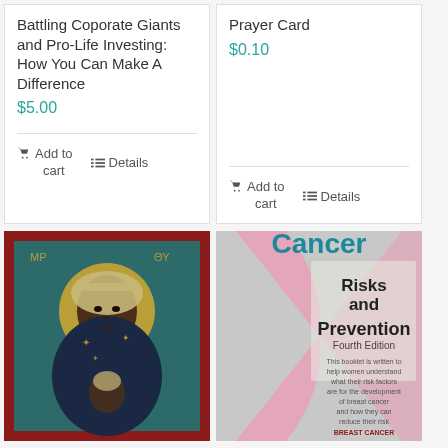Battling Coporate Giants and Pro-Life Investing: How You Can Make A Difference
$5.00
Add to cart
Details
Prayer Card
$0.10
Add to cart
Details
[Figure (photo): Religious icon painting of the Black Madonna (Our Lady of Częstochowa) with gold halo, on teal/dark background with red border frame]
[Figure (photo): Book cover showing 'Cancer Risks and Prevention Fourth Edition' with a pink ribbon and text about helping women understand breast cancer risk factors. Breast Cancer Prevention branding at bottom.]